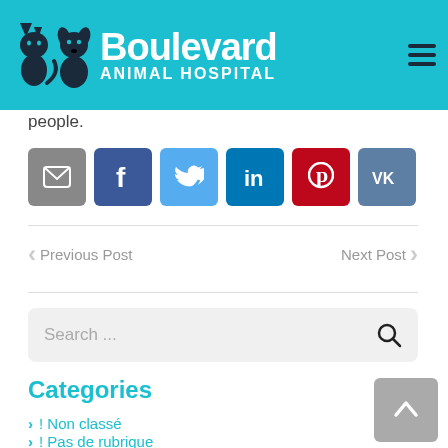[Figure (logo): Boulevard Animal Hospital logo with cat and dog silhouettes on a cyan/teal header background with hamburger menu icon]
people.
[Figure (infographic): Row of 6 social share buttons: email (grey), Facebook (blue), Twitter (light blue), LinkedIn (dark blue), Pinterest (red), VK (slate blue)]
Previous Post
Next Post
[Figure (screenshot): Search bar with placeholder text 'Search ...' and a magnifying glass icon on grey background]
Categories
> ! Non classé
> ! Pas de rubrique